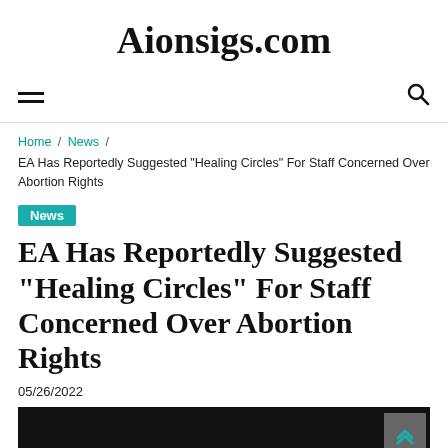Aionsigs.com
Home / News / EA Has Reportedly Suggested "Healing Circles" For Staff Concerned Over Abortion Rights
News
EA Has Reportedly Suggested "Healing Circles" For Staff Concerned Over Abortion Rights
05/26/2022
[Figure (photo): Dark/black image at the bottom of the page, partially visible]